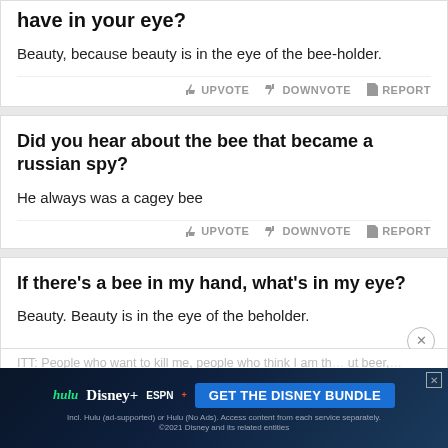have in your eye?
Beauty, because beauty is in the eye of the bee-holder.
UPVOTE  DOWNVOTE  REPORT
Did you hear about the bee that became a russian spy?
He always was a cagey bee
UPVOTE  DOWNVOTE  REPORT
If there's a bee in my hand, what's in my eye?
Beauty. Beauty is in the eye of the beholder.
ITT: People who want to kill me, people who think I am th... but beer,... iddle"
[Figure (screenshot): Advertisement banner: Hulu, Disney+, ESPN+ logos with 'GET THE DISNEY BUNDLE' call to action button. Subtext: 'Incl. Hulu (ad-supported) or Hulu (No Ads). Access content from each service separately. ©2021 Disney and its related entities']